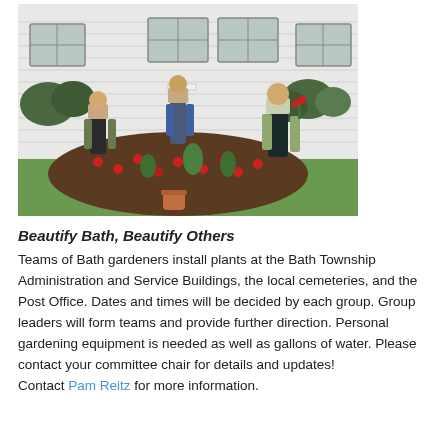[Figure (photo): Three women working in a garden bed near the entrance of a building with white siding and windows. They are planting flowers and holding gardening tools and flower pots. A terracotta pot sits on the lawn in the foreground.]
Beautify Bath, Beautify Others
Teams of Bath gardeners install plants at the Bath Township Administration and Service Buildings, the local cemeteries, and the Post Office. Dates and times will be decided by each group. Group leaders will form teams and provide further direction. Personal gardening equipment is needed as well as gallons of water. Please contact your committee chair for details and updates!
Contact Pam Reitz for more information.